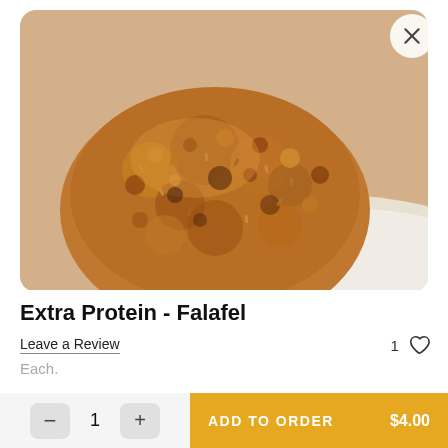[Figure (photo): Close-up photograph of a golden-brown crispy falafel ball on a white plate, showing textured surface with seeds and herbs]
Extra Protein - Falafel
Leave a Review
1 ♡
Each.
- 1 + ADD TO ORDER $4.00